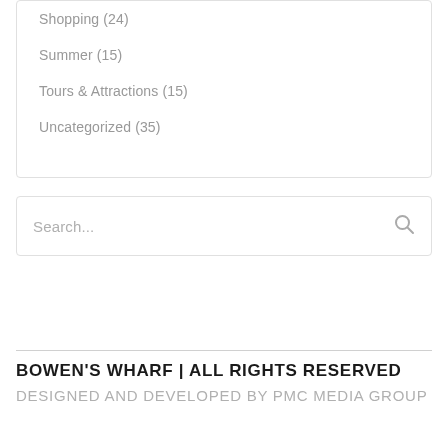Shopping (24)
Summer (15)
Tours & Attractions (15)
Uncategorized (35)
Search...
BOWEN'S WHARF | ALL RIGHTS RESERVED
DESIGNED AND DEVELOPED BY PMC MEDIA GROUP